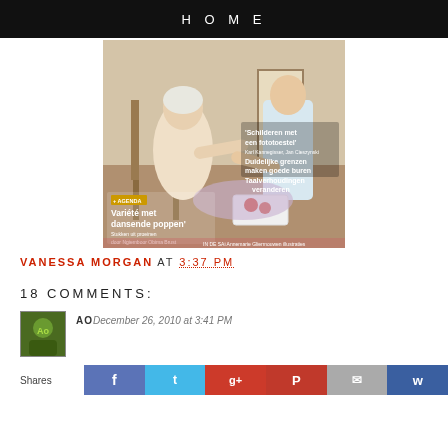HOME
[Figure (photo): Magazine cover showing an elderly woman seated and a caregiver/nurse tending to her. Text overlays in Dutch include: 'Schilderen met een fototoestel', 'Duidelijke grenzen maken goede buren', 'Taalverhoudingen veranderen', '+ AGENDA Variété met dansende poppen']
VANESSA MORGAN AT 3:37 PM
18 COMMENTS:
AO December 26, 2010 at 3:41 PM
Shares